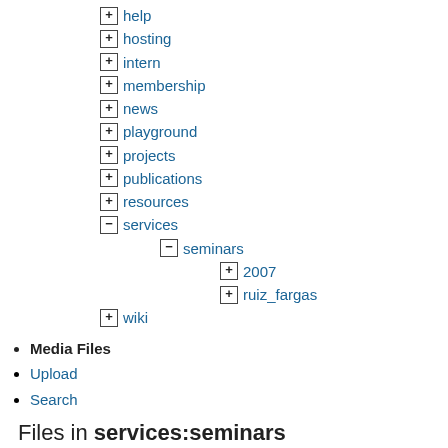+ help
+ hosting
+ intern
+ membership
+ news
+ playground
+ projects
+ publications
+ resources
- services
- seminars
+ 2007
+ ruiz_fargas
+ wiki
Media Files
Upload
Search
Files in services:seminars
| Thumbnails | Rows | Name | Date |
| --- | --- | --- | --- |